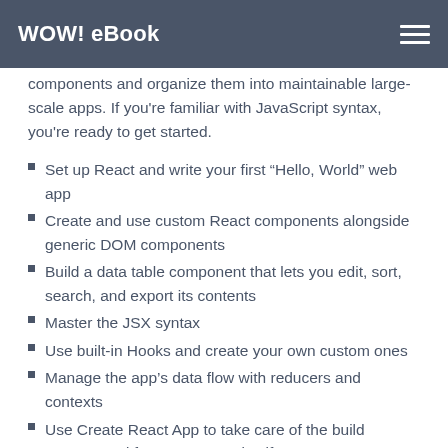WOW! eBook
components and organize them into maintainable large-scale apps. If you're familiar with JavaScript syntax, you're ready to get started.
Set up React and write your first “Hello, World” web app
Create and use custom React components alongside generic DOM components
Build a data table component that lets you edit, sort, search, and export its contents
Master the JSX syntax
Use built-in Hooks and create your own custom ones
Manage the app’s data flow with reducers and contexts
Use Create React App to take care of the build process and focus on React itself
Build a complete custom app that lets you store data on the client